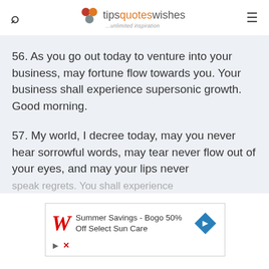tipsquoteswishes ...unlimited inspiration
56. As you go out today to venture into your business, may fortune flow towards you. Your business shall experience supersonic growth. Good morning.
57. My world, I decree today, may you never hear sorrowful words, may tear never flow out of your eyes, and may your lips never speak regrets. You shall experience...
[Figure (other): Walgreens advertisement: Summer Savings - Bogo 50% Off Select Sun Care]